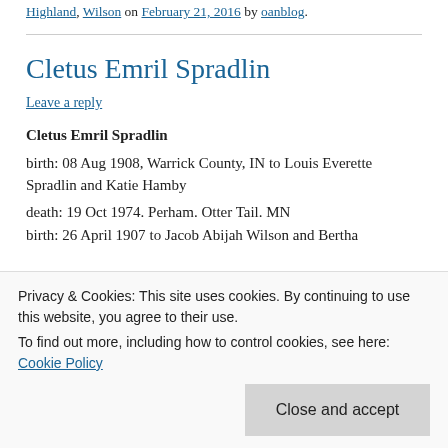Highland, Wilson on February 21, 2016 by oanblog.
Cletus Emril Spradlin
Leave a reply
Cletus Emril Spradlin
birth: 08 Aug 1908, Warrick County, IN to Louis Everette Spradlin and Katie Hamby
death: 19 Oct 1974. Perham. Otter Tail. MN
Privacy & Cookies: This site uses cookies. By continuing to use this website, you agree to their use.
To find out more, including how to control cookies, see here: Cookie Policy
birth: 26 April 1907 to Jacob Abijah Wilson and Bertha